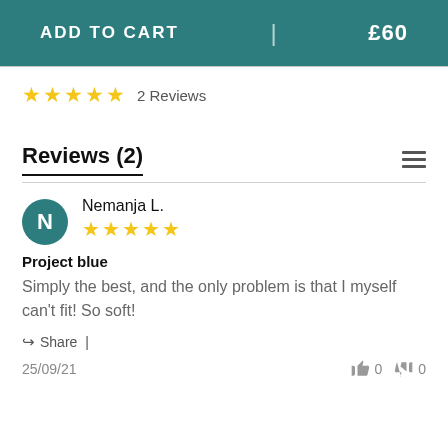ADD TO CART | £60
★★★★★  2 Reviews
Reviews (2)
Nemanja L.
★★★★★
Project blue
Simply the best, and the only problem is that I myself can't fit! So soft!
Share |
25/09/21
0  0